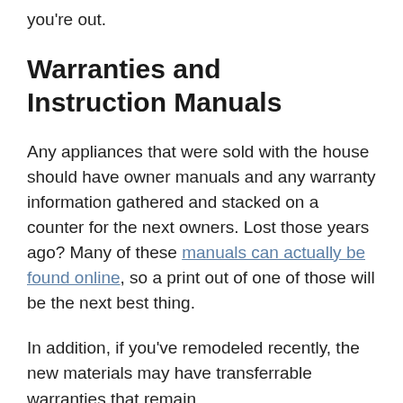you're out.
Warranties and Instruction Manuals
Any appliances that were sold with the house should have owner manuals and any warranty information gathered and stacked on a counter for the next owners. Lost those years ago? Many of these manuals can actually be found online, so a print out of one of those will be the next best thing.
In addition, if you've remodeled recently, the new materials may have transferrable warranties that remain